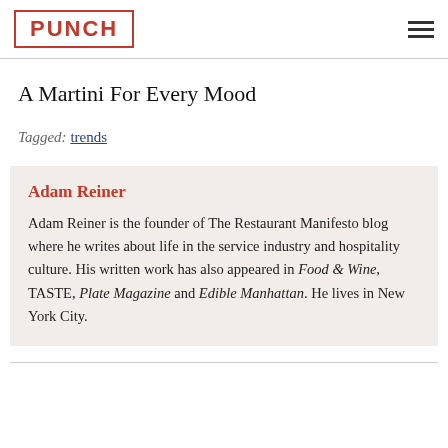PUNCH
A Martini For Every Mood
Tagged: trends
Adam Reiner
Adam Reiner is the founder of The Restaurant Manifesto blog where he writes about life in the service industry and hospitality culture. His written work has also appeared in Food & Wine, TASTE, Plate Magazine and Edible Manhattan. He lives in New York City.